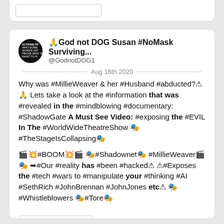[Figure (screenshot): Top portion of a previous tweet card, showing only a rounded-rectangle input/button element]
[Figure (screenshot): Twitter/social media post card with profile avatar, display name, handle, date, and tweet text]
🙏God not DOG Susan #NoMask Surviving...
@GodnotDOG1

Aug 16th 2020

Why was #MillieWeaver & her #Husband #abducted?⚠ 🙏 Lets take a look at the #information that was #revealed in the #mindblowing #documentary: #ShadowGate A Must See Video: #exposing the #EVIL In The #WorldWideTheatreShow 🎭#TheStageIsCollapsing🎭

🎬💥#BOOM💥🎬 🎭#Shadownet🎭 #MillieWeaver🎬🎭 ➡#Our #reality has #been #hacked⚠ ⚠#Exposes the #tech #wars to #manipulate your #thinking #AI #SethRich #JohnBrennan #JohnJones etc⚠ 🎭#Whistleblowers 🎭#Tore🎭
Read 39 tweets